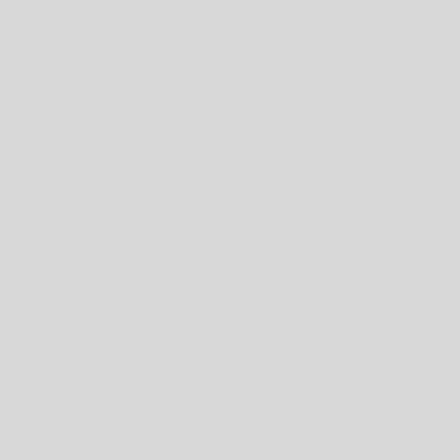But l'ancient friends (thou
That touch my bell, I canno
Tis true, no turbots dignify
But gudgeons, founders, wh
BO
To Hounslow-heath I point,
Thence comes your mution,
52 From yon old walnut-tre
And grapes, long-lingering
Why? will you break the sabba
No
Et frustra mortis cupidum, c
* As, laquei pretium.
Sed pullo
Jure, inquit, Trausius istis
Jugatur verbis : ego vectigal